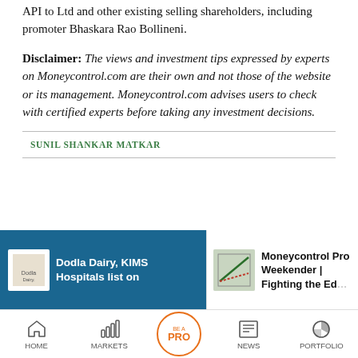API to Ltd and other existing selling shareholders, including promoter Bhaskara Rao Bollineni.
Disclaimer: The views and investment tips expressed by experts on Moneycontrol.com are their own and not those of the website or its management. Moneycontrol.com advises users to check with certified experts before taking any investment decisions.
SUNIL SHANKAR MATKAR
[Figure (infographic): News card: Dodla Dairy, KIMS Hospitals list on [exchange] — blue background card with logo and text]
[Figure (infographic): News card: Moneycontrol Pro Weekender | Fighting the [rest cut off] — white background card with chart image]
[Figure (infographic): Bottom navigation bar with Home, Markets, BE A PRO button, News, Portfolio icons]